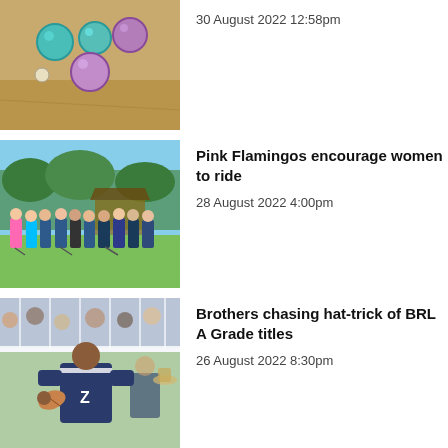[Figure (photo): Colourful bocce balls on a sandy court]
30 August 2022 12:58pm
[Figure (photo): Group of cyclists standing with bikes on grass under trees]
Pink Flamingos encourage women to ride
28 August 2022 4:00pm
[Figure (photo): Rugby league player in dark jersey carrying ball]
Brothers chasing hat-trick of BRL A Grade titles
26 August 2022 8:30pm